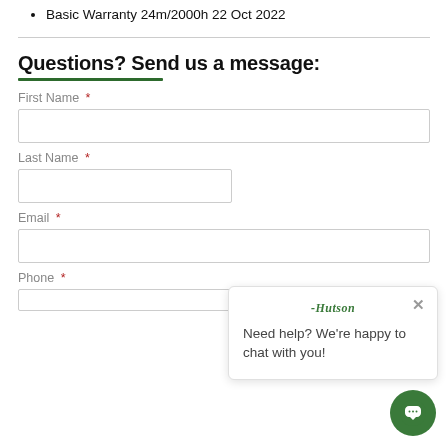Basic Warranty 24m/2000h 22 Oct 2022
Questions? Send us a message:
First Name *
Last Name *
Email *
Phone *
Hutson — Need help? We're happy to chat with you!